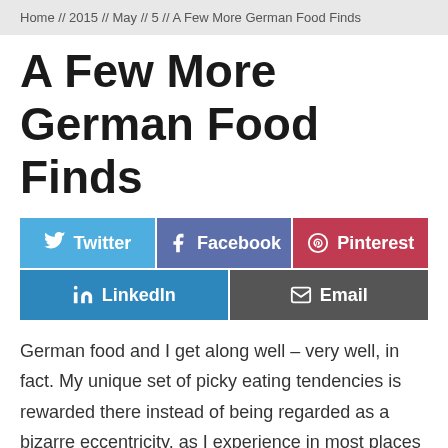Home // 2015 // May // 5 // A Few More German Food Finds
A Few More German Food Finds
[Figure (infographic): Social sharing buttons: Twitter (blue), Facebook (indigo), Pinterest (red), LinkedIn (blue), Email (dark grey)]
German food and I get along well – very well, in fact. My unique set of picky eating tendencies is rewarded there instead of being regarded as a bizarre eccentricity, as I experience in most places around the world. Meats, cheeses and great desserts – they all fit me to a T and I